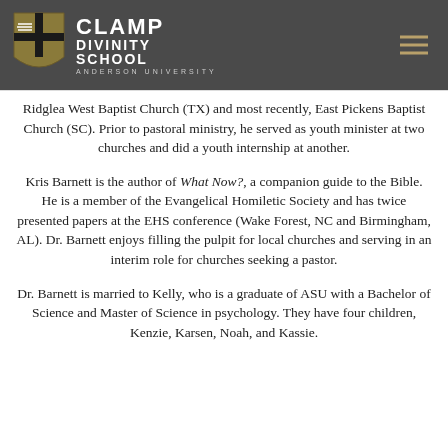[Figure (logo): Clamp Divinity School at Anderson University logo with shield emblem and school name in white text on dark gray header bar]
Ridglea West Baptist Church (TX) and most recently, East Pickens Baptist Church (SC). Prior to pastoral ministry, he served as youth minister at two churches and did a youth internship at another.
Kris Barnett is the author of What Now?, a companion guide to the Bible. He is a member of the Evangelical Homiletic Society and has twice presented papers at the EHS conference (Wake Forest, NC and Birmingham, AL). Dr. Barnett enjoys filling the pulpit for local churches and serving in an interim role for churches seeking a pastor.
Dr. Barnett is married to Kelly, who is a graduate of ASU with a Bachelor of Science and Master of Science in psychology. They have four children, Kenzie, Karsen, Noah, and Kassie.